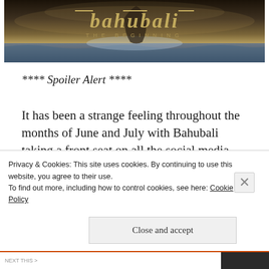[Figure (photo): Bahubali: The Beginning movie banner/poster showing dramatic ocean/waterfall scene with the stylized Bahubali logo and subtitle 'THE BEGINNING']
**** Spoiler Alert ****
It has been a strange feeling throughout the months of June and July with Bahubali taking a front seat on all the social media platforms via the TV/YouTube interviews, Twitter feeds and
Privacy & Cookies: This site uses cookies. By continuing to use this website, you agree to their use.
To find out more, including how to control cookies, see here: Cookie Policy
Close and accept